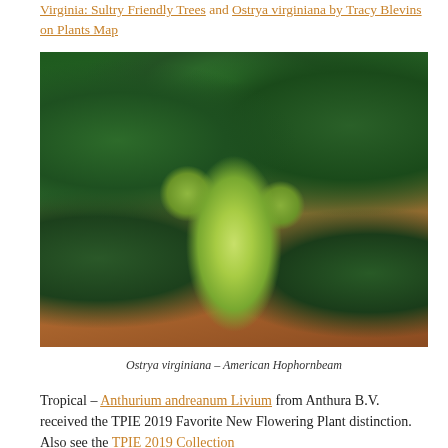Virginia: Sultry Friendly Trees and Ostrya virginiana by Tracy Blevins on Plants Map
[Figure (photo): Close-up photograph of Ostrya virginiana (American Hophornbeam) showing hanging seed clusters with papery greenish bracts surrounded by large toothed leaves against a dark green background]
Ostrya virginiana – American Hophornbeam
Tropical – Anthurium andreanum Livium from Anthura B.V. received the TPIE 2019 Favorite New Flowering Plant distinction. Also see the TPIE 2019 Collection